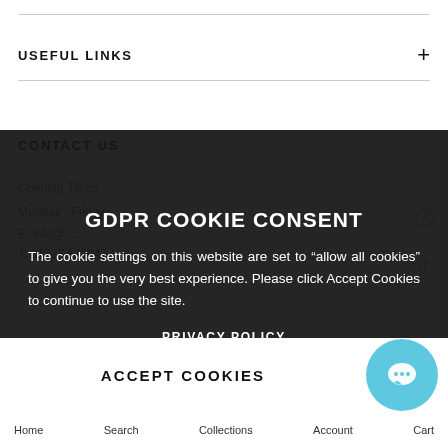USEFUL LINKS
CONTACT US
Opening Times
Monday - Friday
E: info@...
T: 01227 679047
[Figure (screenshot): GDPR Cookie Consent overlay dialog with title 'GDPR COOKIE CONSENT', body text about cookie settings, privacy policy link, and accept cookies button]
GDPR COOKIE CONSENT
The cookie settings on this website are set to "allow all cookies" to give you the very best experience. Please click Accept Cookies to continue to use the site.
PRIVACY POLICY
ACCEPT COOKIES
Home  Search  Collections  Account  Cart